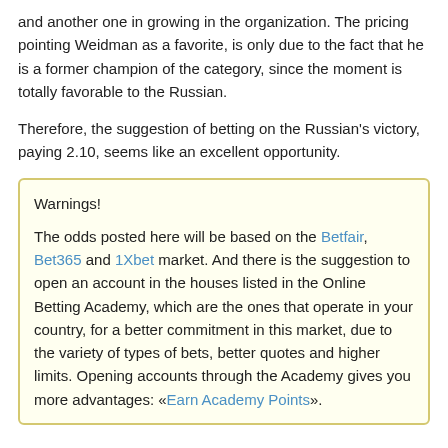and another one in growing in the organization. The pricing pointing Weidman as a favorite, is only due to the fact that he is a former champion of the category, since the moment is totally favorable to the Russian.
Therefore, the suggestion of betting on the Russian's victory, paying 2.10, seems like an excellent opportunity.
Warnings!

The odds posted here will be based on the Betfair, Bet365 and 1Xbet market. And there is the suggestion to open an account in the houses listed in the Online Betting Academy, which are the ones that operate in your country, for a better commitment in this market, due to the variety of types of bets, better quotes and higher limits. Opening accounts through the Academy gives you more advantages: «Earn Academy Points».